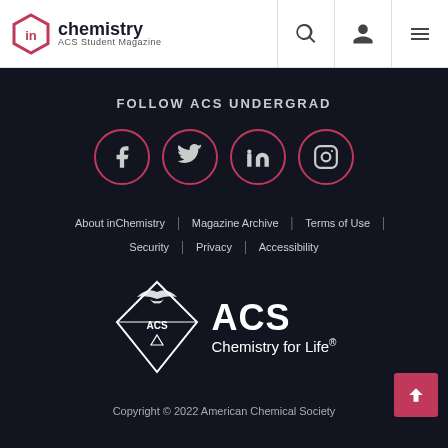inchemistry ACS Student Magazine
FOLLOW ACS UNDERGRAD
[Figure (infographic): Four social media icons in pink-outlined circles: Facebook, Twitter, LinkedIn, Instagram]
About inChemistry | Magazine Archive | Terms of Use | Security | Privacy | Accessibility
[Figure (logo): ACS Chemistry for Life logo with eagle and diamond shield emblem]
Copyright © 2022 American Chemical Society